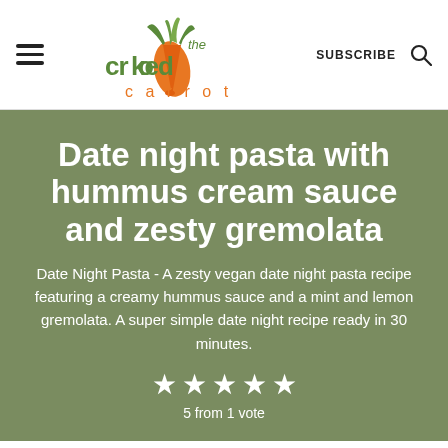the crooked carrot — SUBSCRIBE
Date night pasta with hummus cream sauce and zesty gremolata
Date Night Pasta - A zesty vegan date night pasta recipe featuring a creamy hummus sauce and a mint and lemon gremolata. A super simple date night recipe ready in 30 minutes.
5 from 1 vote